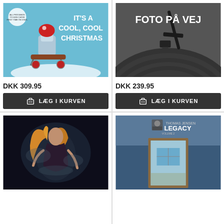[Figure (photo): Album cover: It's a Cool Cool Christmas - toy robot on sled on blue background with white text]
Diverse Kunstnere: It's a Cool Cool...
DKK 309.95
LÆG I KURVEN
[Figure (photo): Album cover: Foto På Vej - close up of vinyl record needle in black and white with white text FOTO PÅ VEJ]
Diverse Kunstnere: Xxim:Sounds (...
DKK 239.95
LÆG I KURVEN
[Figure (illustration): Dark fantasy illustration of a blonde woman warrior with dark background]
[Figure (photo): Album cover: Thomas Jensen Legacy - photo of door hallway in blue tones with text Thomas Jensen Legacy]